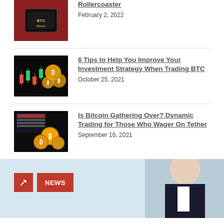[Figure (photo): Smartphone showing Bitcoin BTC text on red background]
Rollercoaster
February 2, 2022
[Figure (photo): Bitcoin gold coins with stock chart green and red candles]
6 Tips to Help You Improve Your Investment Strategy When Trading BTC
October 25, 2021
[Figure (photo): Bitcoin gold coins on dark surface with financial data]
Is Bitcoin Gathering Over? Dynamic Trading for Those Who Wager On Tether
September 16, 2021
[Figure (photo): Business professional in suit, NEWS category button overlay]
NEWS